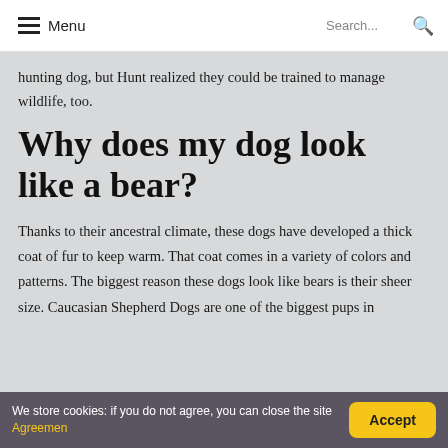Menu | Search...
hunting dog, but Hunt realized they could be trained to manage wildlife, too.
Why does my dog look like a bear?
Thanks to their ancestral climate, these dogs have developed a thick coat of fur to keep warm. That coat comes in a variety of colors and patterns. The biggest reason these dogs look like bears is their sheer size. Caucasian Shepherd Dogs are one of the biggest pups in
We store cookies: if you do not agree, you can close the site Agreemen